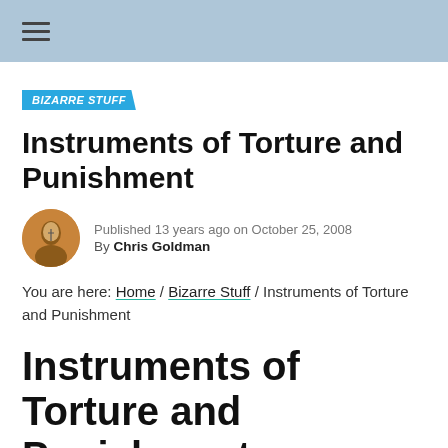BIZARRE STUFF
Instruments of Torture and Punishment
Published 13 years ago on October 25, 2008
By Chris Goldman
You are here: Home / Bizarre Stuff / Instruments of Torture and Punishment
Instruments of Torture and Punishment